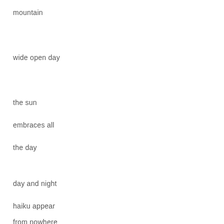mountain
wide open day
the sun
embraces all
the day
day and night
haiku appear
from nowhere